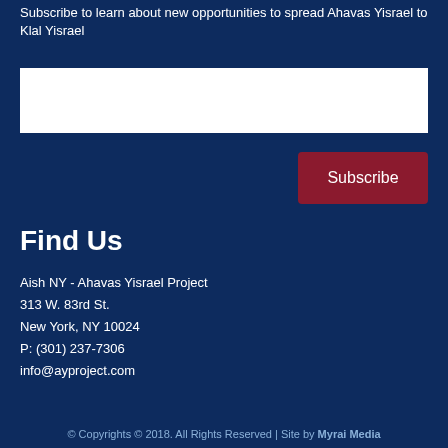Subscribe to learn about new opportunities to spread Ahavas Yisrael to Klal Yisrael
Subscribe
Find Us
Aish NY - Ahavas Yisrael Project
313 W. 83rd St.
New York, NY 10024
P: (301) 237-7306
info@ayproject.com
© Copyrights © 2018. All Rights Reserved | Site by Myrai Media